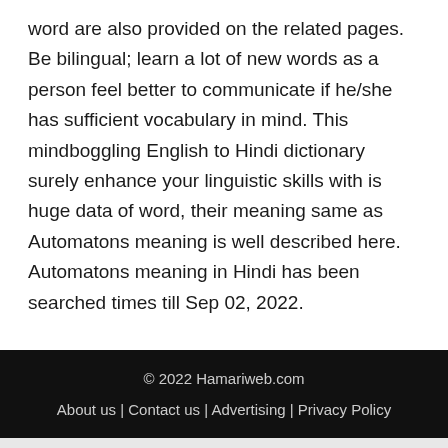word are also provided on the related pages. Be bilingual; learn a lot of new words as a person feel better to communicate if he/she has sufficient vocabulary in mind. This mindboggling English to Hindi dictionary surely enhance your linguistic skills with is huge data of word, their meaning same as Automatons meaning is well described here. Automatons meaning in Hindi has been searched times till Sep 02, 2022.
© 2022 Hamariweb.com | About us | Contact us | Advertising | Privacy Policy